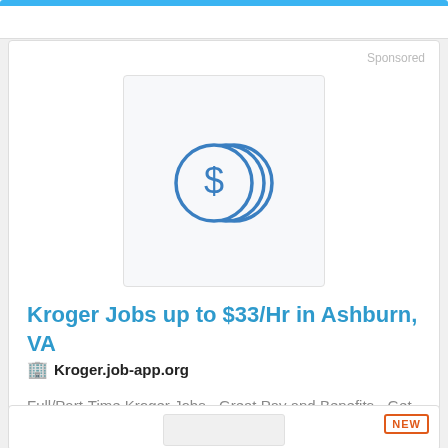Sponsored
[Figure (illustration): Three stacked coins with a dollar sign, drawn in blue outline style on a light gray background]
Kroger Jobs up to $33/Hr in Ashburn, VA
Kroger.job-app.org
Full/Part-Time Kroger Jobs - Great Pay and Benefits - Get Started as soon as today!
More Details
NEW